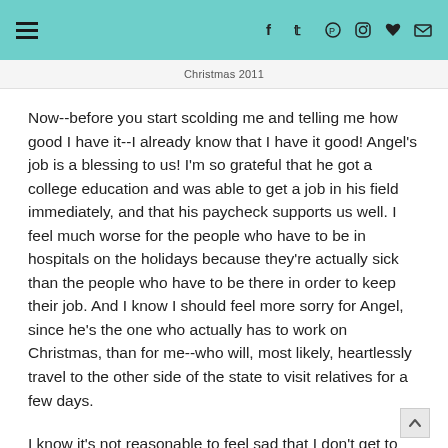☰  f  ✦  ℗  ◻  ♥  ✉
Christmas 2011
Now--before you start scolding me and telling me how good I have it--I already know that I have it good! Angel's job is a blessing to us! I'm so grateful that he got a college education and was able to get a job in his field immediately, and that his paycheck supports us well. I feel much worse for the people who have to be in hospitals on the holidays because they're actually sick than the people who have to be there in order to keep their job. And I know I should feel more sorry for Angel, since he's the one who actually has to work on Christmas, than for me--who will, most likely, heartlessly travel to the other side of the state to visit relatives for a few days.
I know it's not reasonable to feel sad that I don't get to spend Christmas with my husband. It's such a small thing,